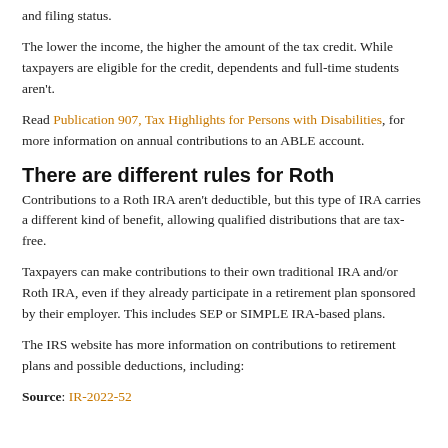and filing status.
The lower the income, the higher the amount of the tax credit. While taxpayers are eligible for the credit, dependents and full-time students aren't.
Read Publication 907, Tax Highlights for Persons with Disabilities, for more information on annual contributions to an ABLE account.
There are different rules for Roth
Contributions to a Roth IRA aren't deductible, but this type of IRA carries a different kind of benefit, allowing qualified distributions that are tax-free.
Taxpayers can make contributions to their own traditional IRA and/or Roth IRA, even if they already participate in a retirement plan sponsored by their employer. This includes SEP or SIMPLE IRA-based plans.
The IRS website has more information on contributions to retirement plans and possible deductions, including:
Source: IR-2022-52